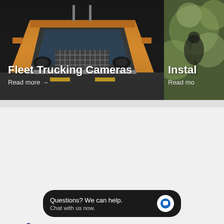[Figure (photo): Yellow semi-truck front view, close-up, driving on a road]
Fleet Trucking Cameras
Read more →
[Figure (photo): Partially visible card with blurred green/nature background, labeled Install]
Instal
Read mo
[Figure (logo): Falcon Electronics logo with falcon head in blue shield and swoosh, text FALCON ELECTRONICS in blue]
FalconEye Electronics has team members with over 40 years of combined experience in trucking industry, located in Texas, and we have designed all of our cam ed for the trucker and fleet.
Questions? We can help. Chat with us now.